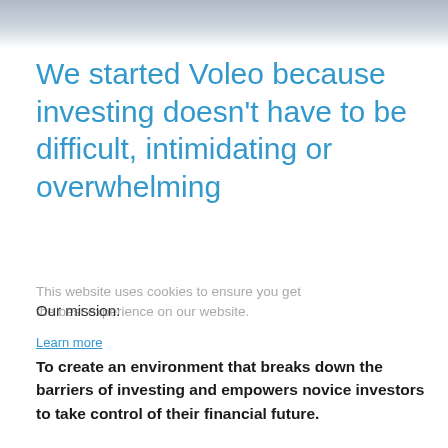[Figure (photo): Partial photo strip at the top of the page showing people, cropped at the top edge]
We started Voleo because investing doesn’t have to be difficult, intimidating or overwhelming
This website uses cookies to ensure you get the best experience on our website.
Our mission:
Learn more
To create an environment that breaks down the barriers of investing and empowers novice investors to take control of their financial future.